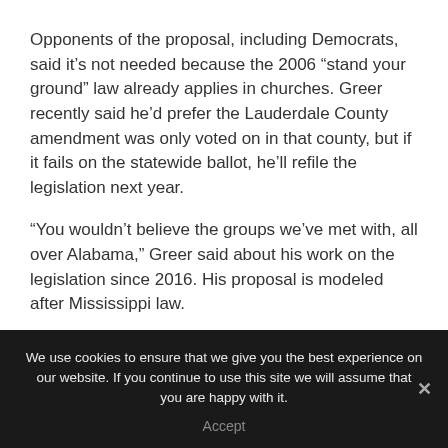Opponents of the proposal, including Democrats, said it's not needed because the 2006 "stand your ground" law already applies in churches. Greer recently said he'd prefer the Lauderdale County amendment was only voted on in that county, but if it fails on the statewide ballot, he'll refile the legislation next year.
“You wouldn’t believe the groups we’ve met with, all over Alabama,” Greer said about his work on the legislation since 2016. His proposal is modeled after Mississippi law.
We use cookies to ensure that we give you the best experience on our website. If you continue to use this site we will assume that you are happy with it. Accept